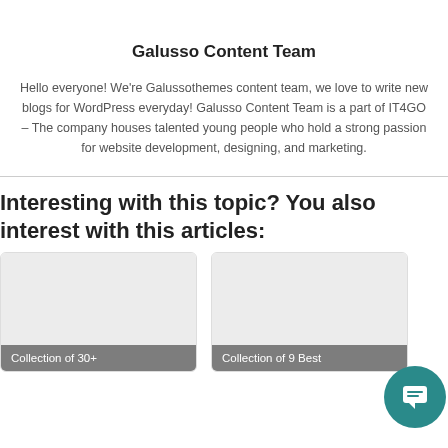Galusso Content Team
Hello everyone! We're Galussothemes content team, we love to write new blogs for WordPress everyday! Galusso Content Team is a part of IT4GO – The company houses talented young people who hold a strong passion for website development, designing, and marketing.
Interesting with this topic? You also interest with this articles:
[Figure (other): Card thumbnail with label 'Collection of 30+']
[Figure (other): Card thumbnail with label 'Collection of 9 Best']